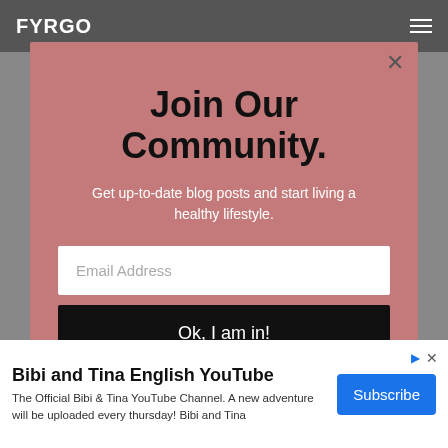FYRGO
Join Our Community.
Get up-to-date blog posts and start living a healthy lifestyle.
Email Address
Ok, I am in!
Bibi and Tina English YouTube
The Official Bibi & Tina YouTube Channel. A new adventure will be uploaded every thursday! Bibi and Tina
Subscribe